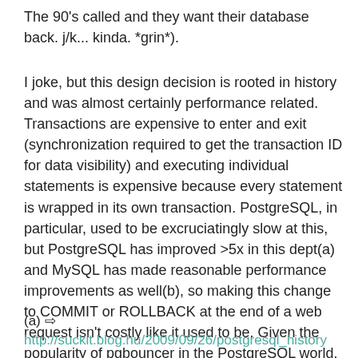The 90's called and they want their database back. j/k... kinda. *grin*).
I joke, but this design decision is rooted in history and was almost certainly performance related. Transactions are expensive to enter and exit (synchronization required to get the transaction ID for data visibility) and executing individual statements is expensive because every statement is wrapped in its own transaction. PostgreSQL, in particular, used to be excruciatingly slow at this, but PostgreSQL has improved >5x in this dept(a) and MySQL has made reasonable performance improvements as well(b), so making this change to COMMIT or ROLLBACK at the end of a web request isn't costly like it used to be. Given the popularity of pgbouncer in the PostgreSQL world, one could probably make a case rooted in data that leaving transactions open has a direct negative performance impact.
(a) => http://suckit.blog.hu/2009/09/26/postgresql_history